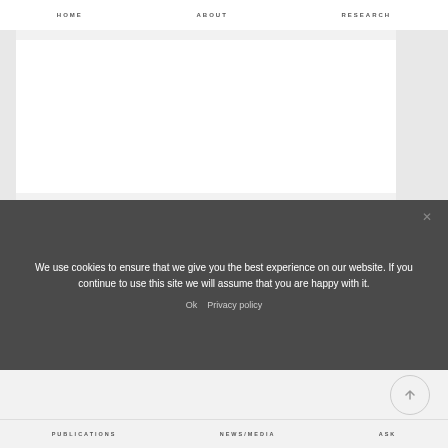HOME   ABOUT   RESEARCH
[Figure (screenshot): White content area with gray side panels on a light gray background]
We use cookies to ensure that we give you the best experience on our website. If you continue to use this site we will assume that you are happy with it.

Ok   Privacy policy
[Figure (other): Circular scroll-to-top button with upward arrow]
PUBLICATIONS   NEWS/MEDIA   ASK